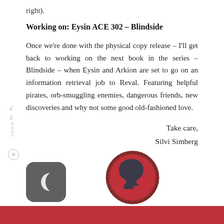right).
Working on: Eysin ACE 302 – Blindside
Once we're done with the physical copy release – I'll get back to working on the next book in the series – Blindside – when Eysin and Arkion are set to go on an information retrieval job to Reval. Featuring helpful pirates, orb-smuggling enemies, dangerous friends, new discoveries and why not some good old-fashioned love.
Take care,
Silvi Simberg
[Figure (logo): Dark rounded-square icon with a crescent moon symbol]
[Figure (logo): Circular cameo-style logo with red background and dark silhouette of a head in profile, surrounded by a decorative border]